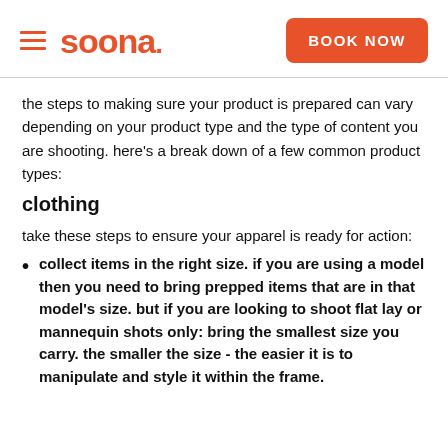soona. BOOK NOW
the steps to making sure your product is prepared can vary depending on your product type and the type of content you are shooting. here's a break down of a few common product types:
clothing
take these steps to ensure your apparel is ready for action:
collect items in the right size. if you are using a model then you need to bring prepped items that are in that model's size. but if you are looking to shoot flat lay or mannequin shots only: bring the smallest size you carry. the smaller the size - the easier it is to manipulate and style it within the frame.